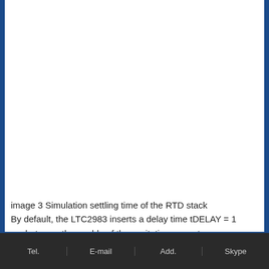[Figure (other): Simulation settling time of the RTD stack - white/blank image area with blue side borders]
image 3 Simulation settling time of the RTD stack
By default, the LTC2983 inserts a delay time tDELAY = 1 ms between the enable of the excitation current source
Tel.   E-mail   Add.   Skype